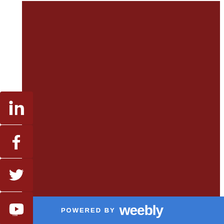[Figure (illustration): Large dark red/maroon rectangular block occupying the upper portion of the page, with social media icon buttons (LinkedIn, Facebook, Twitter, YouTube, Instagram) stacked vertically on the left side overlapping the block.]
Resources & Links
POWERED BY weebly